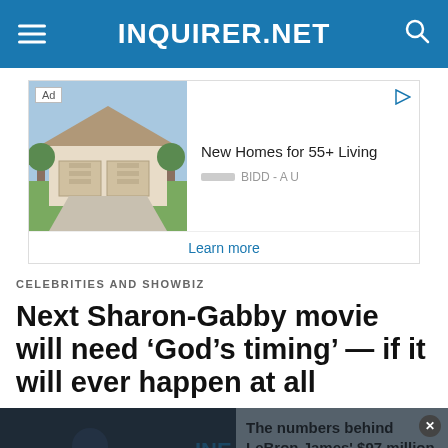INQUIRER.NET
[Figure (screenshot): Advertisement banner showing a house image with text 'New Homes for 55+ Living', brand 'BIDD - A U', and 'Learn more' link]
CELEBRITIES AND SHOWBIZ
Next Sharon-Gabby movie will need ‘God’s timing’ — if it will ever happen at all
[Figure (screenshot): Embedded video player showing LeBron James '$97 million deal' with error overlay text: 'The media could not be loaded, either because the server or network failed or because the format is not supported.' A close button, X button, and chat button are visible.]